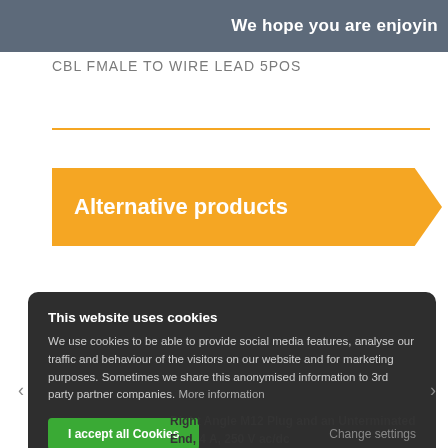We hope you are enjoyin
CBL FMALE TO WIRE LEAD 5POS
Alternative products
This website uses cookies
We use cookies to be able to provide social media features, analyse our traffic and behaviour of the visitors on our website and for marketing purposes. Sometimes we share this anonymised information to 3rd party partner companies. More information
I accept all Cookies    Change settings
Right Angle M12 Plug and an Unterminated End, 4 A, 250 V ac/dc